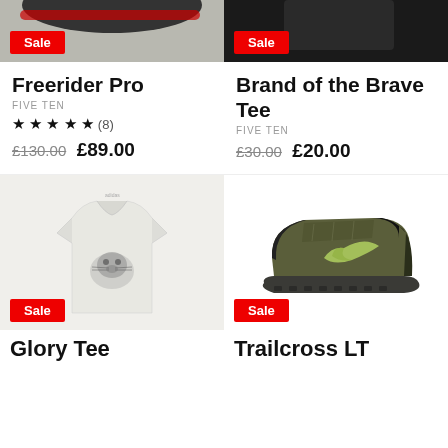[Figure (photo): Partial top image of Freerider Pro shoe with Sale badge]
[Figure (photo): Partial top image of Brand of the Brave Tee (black top) with Sale badge]
Freerider Pro
FIVE TEN
★ ★ ★ ★ ★ (8)
£130.00  £89.00
Brand of the Brave Tee
FIVE TEN
£30.00  £20.00
[Figure (photo): Glory Tee grey t-shirt with guinea pig graphic, Sale badge]
[Figure (photo): Trailcross LT olive/green shoe, Sale badge]
Glory Tee
Trailcross LT